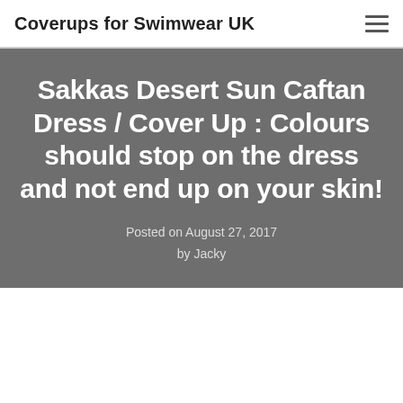Coverups for Swimwear UK
Sakkas Desert Sun Caftan Dress / Cover Up : Colours should stop on the dress and not end up on your skin!
Posted on August 27, 2017
by Jacky